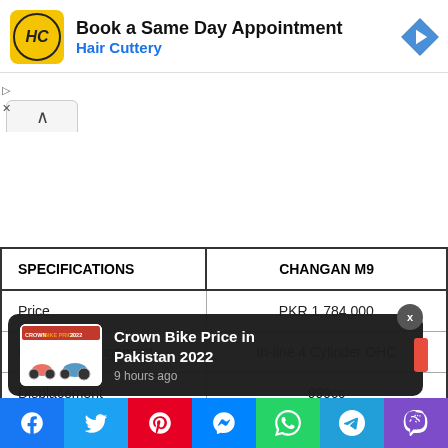[Figure (screenshot): Hair Cuttery advertisement banner with logo showing HC in circle on yellow background, text 'Book a Same Day Appointment' and 'Hair Cuttery' in blue, and a blue navigation arrow icon on the right.]
| SPECIFICATIONS | CHANGAN M9 |
| --- | --- |
| Price | PKR 1,784,000 |
| Cylinder Arrangement | In-line 4 Cylinder OHC |
| Displacement | 999cc |
| Fuel System |  |
[Figure (screenshot): Notification popup showing 'Crown Bike Price in Pakistan 2022' with bike image and '9 hours ago' timestamp on dark background.]
[Figure (screenshot): Social media sharing bar with Facebook, Twitter, Pinterest, Messenger, WhatsApp, Telegram, and Viber icons.]